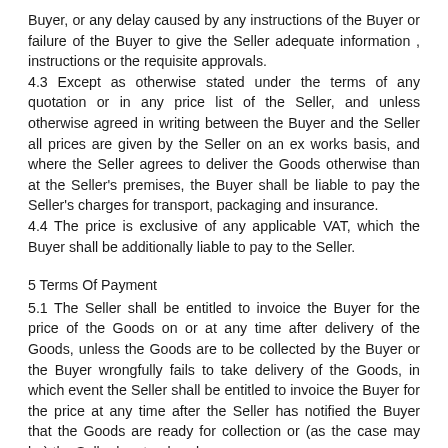Buyer, or any delay caused by any instructions of the Buyer or failure of the Buyer to give the Seller adequate information , instructions or the requisite approvals.
4.3 Except as otherwise stated under the terms of any quotation or in any price list of the Seller, and unless otherwise agreed in writing between the Buyer and the Seller all prices are given by the Seller on an ex works basis, and where the Seller agrees to deliver the Goods otherwise than at the Seller's premises, the Buyer shall be liable to pay the Seller's charges for transport, packaging and insurance.
4.4 The price is exclusive of any applicable VAT, which the Buyer shall be additionally liable to pay to the Seller.
5 Terms Of Payment
5.1 The Seller shall be entitled to invoice the Buyer for the price of the Goods on or at any time after delivery of the Goods, unless the Goods are to be collected by the Buyer or the Buyer wrongfully fails to take delivery of the Goods, in which event the Seller shall be entitled to invoice the Buyer for the price at any time after the Seller has notified the Buyer that the Goods are ready for collection or (as the case may be) the Seller has tendered delivery of the Goods.